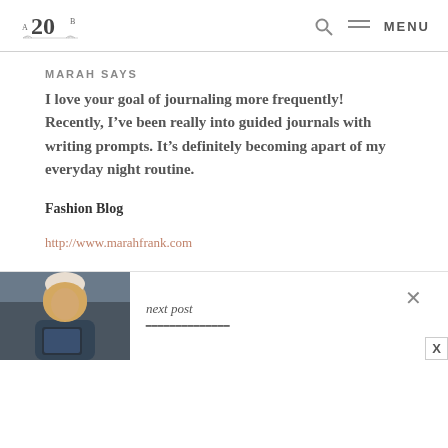A20 B [logo] | Search icon | MENU
MARAH SAYS
I love your goal of journaling more frequently! Recently, I’ve been really into guided journals with writing prompts. It’s definitely becoming apart of my everyday night routine.
Fashion Blog
http://www.marahfrank.com
[Figure (photo): Woman with blonde hair wearing a beanie hat, sitting in a car looking at a tablet/book]
next post